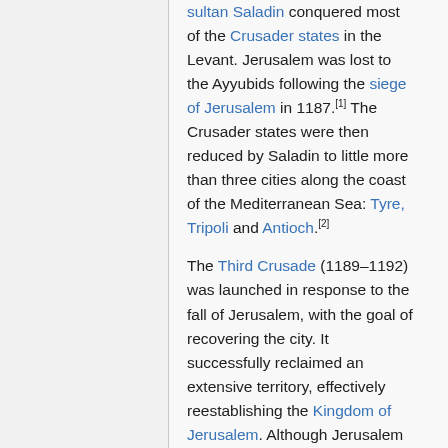sultan Saladin conquered most of the Crusader states in the Levant. Jerusalem was lost to the Ayyubids following the siege of Jerusalem in 1187.[1] The Crusader states were then reduced by Saladin to little more than three cities along the coast of the Mediterranean Sea: Tyre, Tripoli and Antioch.[2]
The Third Crusade (1189–1192) was launched in response to the fall of Jerusalem, with the goal of recovering the city. It successfully reclaimed an extensive territory, effectively reestablishing the Kingdom of Jerusalem. Although Jerusalem itself was not recovered, the important coastal towns of Acre and Jaffa were. On 2 September 1192, the Treaty of Jaffa was signed with Saladin, bringing the